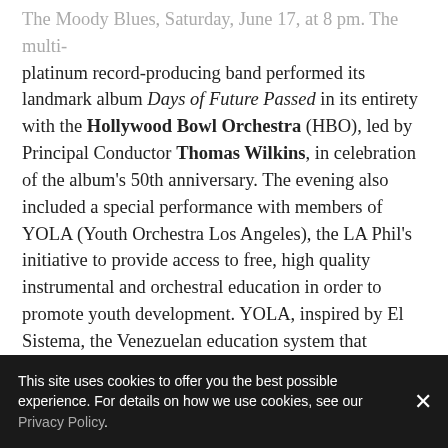The Moody Blues, Saturday, June 17, at 8 pm. The multi-platinum record-producing band performed its landmark album Days of Future Passed in its entirety with the Hollywood Bowl Orchestra (HBO), led by Principal Conductor Thomas Wilkins, in celebration of the album's 50th anniversary. The evening also included a special performance with members of YOLA (Youth Orchestra Los Angeles), the LA Phil's initiative to provide access to free, high quality instrumental and orchestral education in order to promote youth development. YOLA, inspired by El Sistema, the Venezuelan education system that nurtured LA Phil Music & Artistic Director Gustavo Dudamel, is celebrating its 10th anniversary.
The Opening Night at the Hollywood Bowl benefit concert raised more than $1.5 million for the Los Angeles
This site uses cookies to offer you the best possible experience. For details on how we use cookies, see our Privacy Policy.